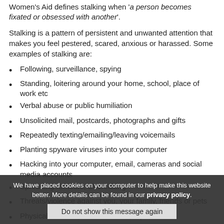Women's Aid defines stalking when 'a person becomes fixated or obsessed with another'.
Stalking is a pattern of persistent and unwanted attention that makes you feel pestered, scared, anxious or harassed. Some examples of stalking are:
Following, surveillance, spying
Standing, loitering around your home, school, place of work etc
Verbal abuse or public humiliation
Unsolicited mail, postcards, photographs and gifts
Repeatedly texting/emailing/leaving voicemails
Planting spyware viruses into your computer
Hacking into your computer, email, cameras and social media accounts
Spreading rumours, discrediting
Threats/violence against you, your family, friends or pets
Physical violence, sexual assault, rape, murder
Befriending your friends, family to get closer to them
Going through rubbish bins, leaving offensive material in the garden
Breaking into your car, home or office and/or damaging property
We have placed cookies on your computer to help make this website better. More details can be found in our privacy policy.